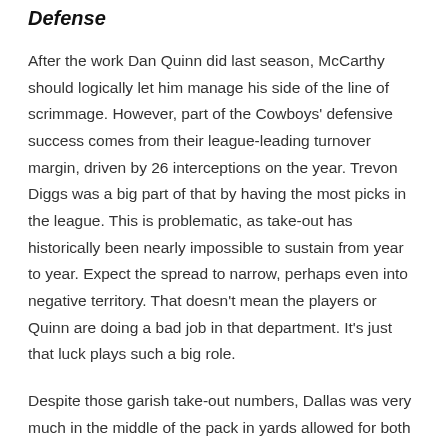Defense
After the work Dan Quinn did last season, McCarthy should logically let him manage his side of the line of scrimmage. However, part of the Cowboys' defensive success comes from their league-leading turnover margin, driven by 26 interceptions on the year. Trevon Diggs was a big part of that by having the most picks in the league. This is problematic, as take-out has historically been nearly impossible to sustain from year to year. Expect the spread to narrow, perhaps even into negative territory. That doesn't mean the players or Quinn are doing a bad job in that department. It's just that luck plays such a big role.
Despite those garish take-out numbers, Dallas was very much in the middle of the pack in yards allowed for both passing and rushing. They literally lived off these takeouts, which is very unlikely to be viable this season. To compensate for this, the team must do two things.